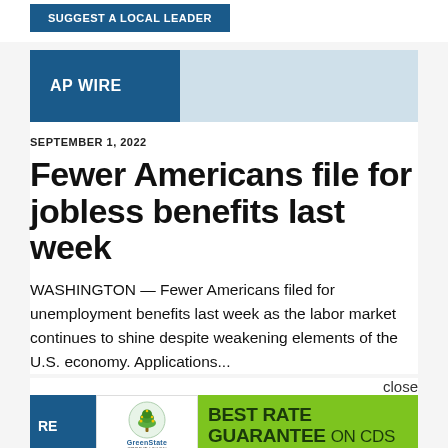SUGGEST A LOCAL LEADER
AP WIRE
SEPTEMBER 1, 2022
Fewer Americans file for jobless benefits last week
WASHINGTON — Fewer Americans filed for unemployment benefits last week as the labor market continues to shine despite weakening elements of the U.S. economy. Applications...
close
[Figure (logo): GreenState Credit Union logo with tree icon]
BEST RATE GUARANTEE ON CDs